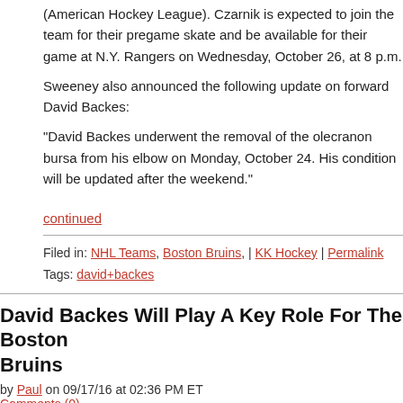(American Hockey League). Czarnik is expected to join the team for their pregame skate and be available for their game at N.Y. Rangers on Wednesday, October 26, at 8 p.m.
Sweeney also announced the following update on forward David Backes:
"David Backes underwent the removal of the olecranon bursa from his elbow on Monday, October 24. His condition will be updated after the weekend."
continued
Filed in: NHL Teams, Boston Bruins, | KK Hockey | Permalink
Tags: david+backes
David Backes Will Play A Key Role For The Boston Bruins
by Paul on 09/17/16 at 02:36 PM ET
Comments (0)
from Fluto Shinzawa of the Boston Globe,
On Tuesday, in the Americans' 3-2 exhibition-finale win over Finland, Backes centered the fourth line between Justin Abdelkader and